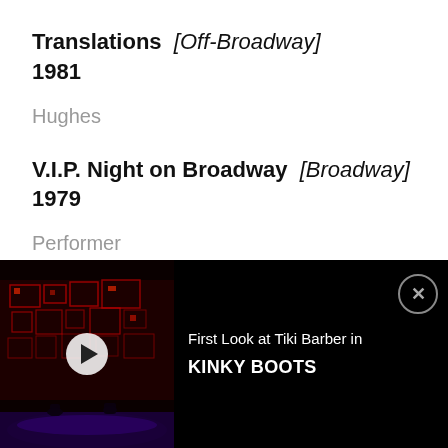Translations [Off-Broadway]
1981
Hughes
V.I.P. Night on Broadway [Broadway]
1979
Performer
Da [Broadway]
1978
[Figure (screenshot): Advertisement banner at bottom of page showing a dark theater stage with red lighting, a play button overlay, text 'First Look at Tiki Barber in KINKY BOOTS', and a close (X) button]